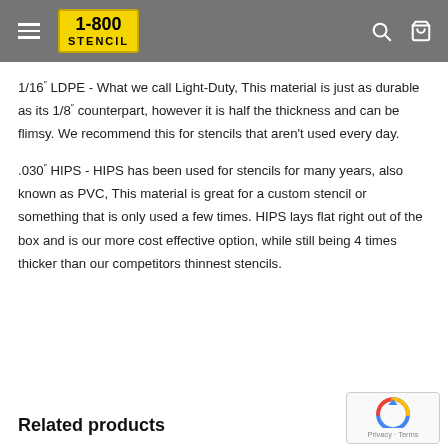1-800 STENCIL
1/16" LDPE - What we call Light-Duty, This material is just as durable as its 1/8" counterpart, however it is half the thickness and can be flimsy. We recommend this for stencils that aren't used every day.
.030" HIPS - HIPS has been used for stencils for many years, also known as PVC, This material is great for a custom stencil or something that is only used a few times. HIPS lays flat right out of the box and is our more cost effective option, while still being 4 times thicker than our competitors thinnest stencils.
Related products